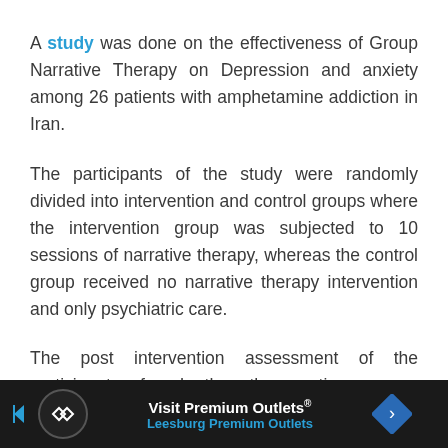A study was done on the effectiveness of Group Narrative Therapy on Depression and anxiety among 26 patients with amphetamine addiction in Iran.
The participants of the study were randomly divided into intervention and control groups where the intervention group was subjected to 10 sessions of narrative therapy, whereas the control group received no narrative therapy intervention and only psychiatric care.
The post intervention assessment of the participants found the therapeutic process reduced the level of de[pression]...
[Figure (other): Advertisement banner for Visit Premium Outlets - Leesburg Premium Outlets, with dark background, circular logo icon, blue arrow and navigation icon]